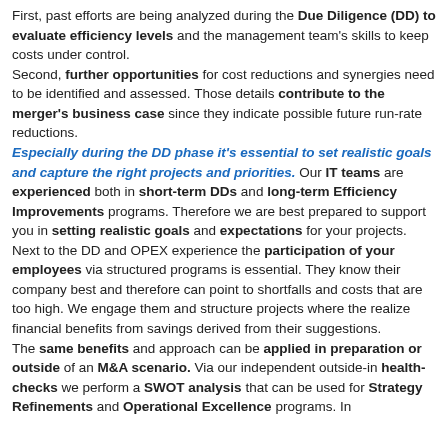First, past efforts are being analyzed during the Due Diligence (DD) to evaluate efficiency levels and the management team's skills to keep costs under control. Second, further opportunities for cost reductions and synergies need to be identified and assessed. Those details contribute to the merger's business case since they indicate possible future run-rate reductions. Especially during the DD phase it's essential to set realistic goals and capture the right projects and priorities. Our IT teams are experienced both in short-term DDs and long-term Efficiency Improvements programs. Therefore we are best prepared to support you in setting realistic goals and expectations for your projects. Next to the DD and OPEX experience the participation of your employees via structured programs is essential. They know their company best and therefore can point to shortfalls and costs that are too high. We engage them and structure projects where the realize financial benefits from savings derived from their suggestions. The same benefits and approach can be applied in preparation or outside of an M&A scenario. Via our independent outside-in health-checks we perform a SWOT analysis that can be used for Strategy Refinements and Operational Excellence programs. In